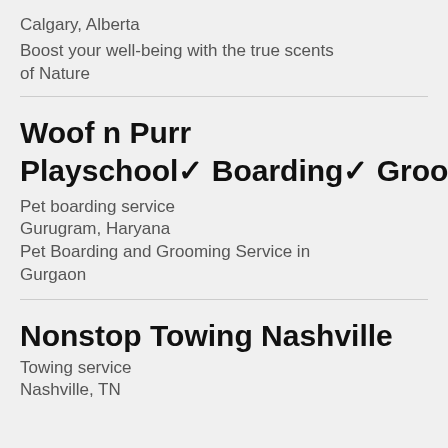Calgary, Alberta
Boost your well-being with the true scents of Nature
Woof n Purr
Playschool✓ Boarding✓ Grooming✓
Pet boarding service
Gurugram, Haryana
Pet Boarding and Grooming Service in Gurgaon
Nonstop Towing Nashville
Towing service
Nashville, TN